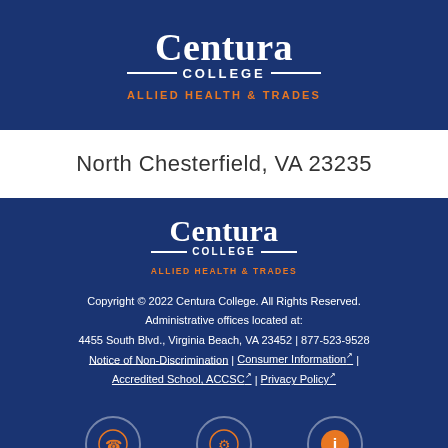[Figure (logo): Centura College - Allied Health & Trades logo in white and orange on dark blue background (top banner)]
North Chesterfield, VA 23235
[Figure (logo): Centura College - Allied Health & Trades logo in white and orange on dark blue background (footer section)]
Copyright © 2022 Centura College. All Rights Reserved. Administrative offices located at: 4455 South Blvd., Virginia Beach, VA 23452 | 877-523-9528 Notice of Non-Discrimination | Consumer Information | Accredited School, ACCSC | Privacy Policy
[Figure (infographic): Three orange circular icons: phone icon, settings/gear icon, and info icon]